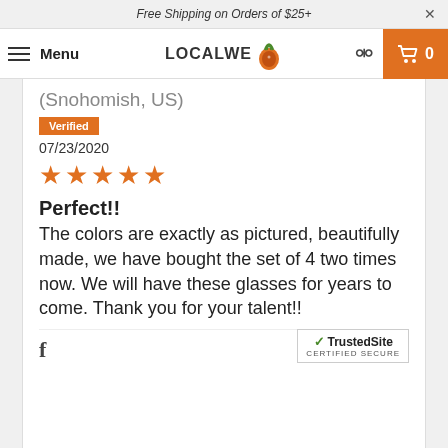Free Shipping on Orders of $25+
[Figure (logo): LOCALWE logo with pineapple icon, hamburger menu, search icon, and cart button showing 0 items]
(Snohomish, US)
Verified
07/23/2020
[Figure (other): Five orange star rating icons]
Perfect!!
The colors are exactly as pictured, beautifully made, we have bought the set of 4 two times now. We will have these glasses for years to come. Thank you for your talent!!
[Figure (other): Social sharing row: Facebook icon, thumbs up with count 0, thumbs down with count 0. TrustedSite CERTIFIED SECURE badge in bottom right.]